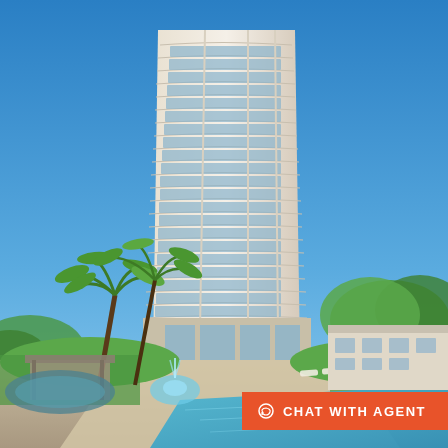[Figure (photo): Architectural rendering of a tall luxury residential high-rise condominium tower with curved wave-like balconies, white facade, approximately 30+ stories, against a bright blue sky. Below the tower is a resort-style pool area with palm trees, manicured green lawns, lounge chairs, a gazebo/pergola structure, outdoor seating areas, and a lower annex building on the right side.]
CHAT WITH AGENT